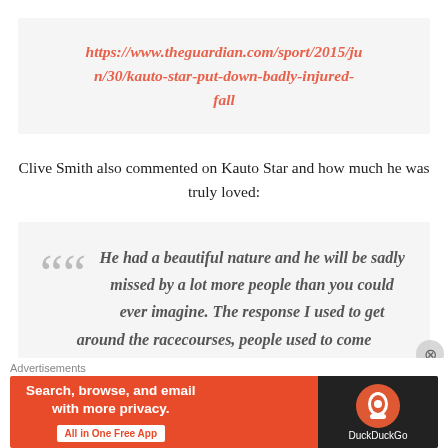https://www.theguardian.com/sport/2015/jun/30/kauto-star-put-down-badly-injured-fall
Clive Smith also commented on Kauto Star and how much he was truly loved:
He had a beautiful nature and he will be sadly missed by a lot more people than you could ever imagine. The response I used to get around the racecourses, people used to come
Advertisements
[Figure (screenshot): DuckDuckGo advertisement banner: Search, browse, and email with more privacy. All in One Free App. DuckDuckGo logo on dark background.]